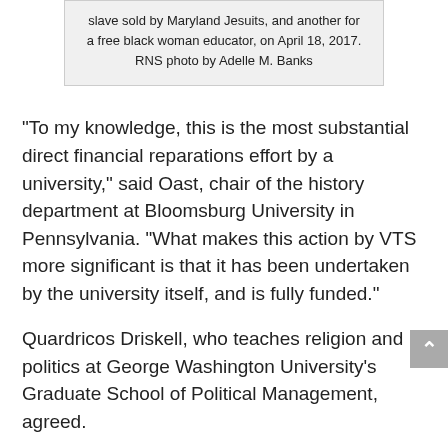slave sold by Maryland Jesuits, and another for a free black woman educator, on April 18, 2017. RNS photo by Adelle M. Banks
“To my knowledge, this is the most substantial direct financial reparations effort by a university,” said Oast, chair of the history department at Bloomsburg University in Pennsylvania. “What makes this action by VTS more significant is that it has been undertaken by the university itself, and is fully funded.”
Quardricos Driskell, who teaches religion and politics at George Washington University’s Graduate School of Political Management, agreed.
“VTS would by definition be the first to have a fund — a University-established led form of reparations,”